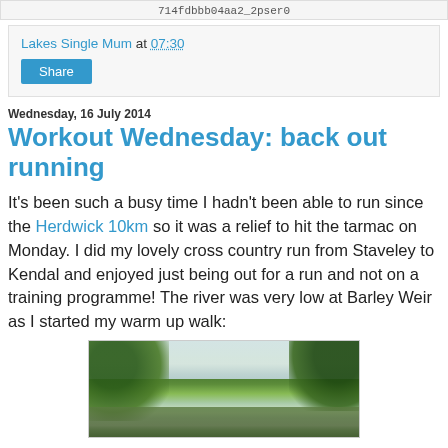714fdbbb04aa2_2pser0
Lakes Single Mum at 07:30
Share
Wednesday, 16 July 2014
Workout Wednesday: back out running
It's been such a busy time I hadn't been able to run since the Herdwick 10km so it was a relief to hit the tarmac on Monday. I did my lovely cross country run from Staveley to Kendal and enjoyed just being out for a run and not on a training programme! The river was very low at Barley Weir as I started my warm up walk:
[Figure (photo): Outdoor photo showing trees and a path or river area at Barley Weir, with green foliage and overcast sky]